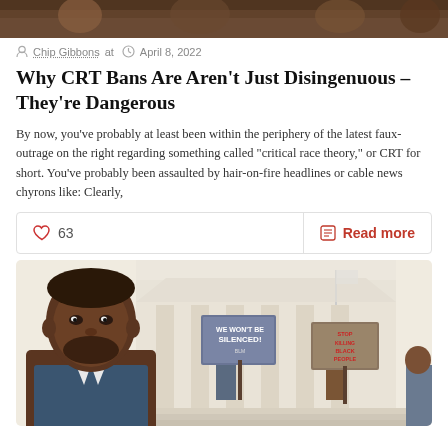[Figure (photo): Dark-toned banner image at top of article page]
Chip Gibbons at  April 8, 2022
Why CRT Bans Are Aren’t Just Disingenuous – They’re Dangerous
By now, you’ve probably at least been within the periphery of the latest faux-outrage on the right regarding something called “critical race theory,” or CRT for short. You’ve probably been assaulted by hair-on-fire headlines or cable news chyrons like: Clearly,
♥ 63   Read more
[Figure (illustration): Illustration of a Black man in foreground with protest signs reading WE WON'T BE SILENCED and STOP KILLING BLACK PEOPLE in background, building facade visible]